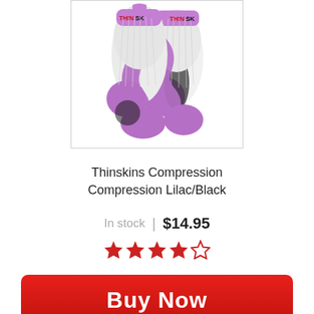[Figure (photo): Thinskins compression socks in lilac/black colorway, shown as a pair, with purple/lilac toe and heel sections, black mesh sides, and white ribbed upper with red Thinskins logo]
Thinskins Compression Compression Lilac/Black
In stock | $14.95
4 out of 5 stars rating
Buy Now